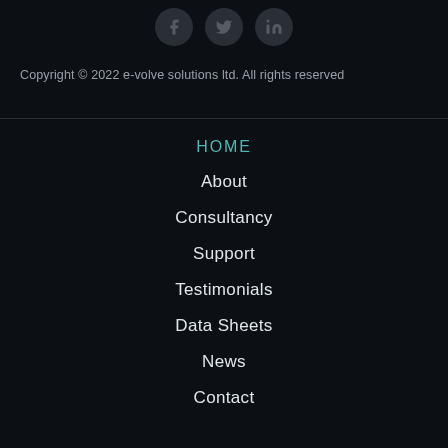[Figure (illustration): Three social media icon circles: Facebook, Twitter, LinkedIn — dark gray circle buttons with dark icons]
Copyright © 2022 e-volve solutions ltd. All rights reserved
HOME
About
Consultancy
Support
Testimonials
Data Sheets
News
Contact